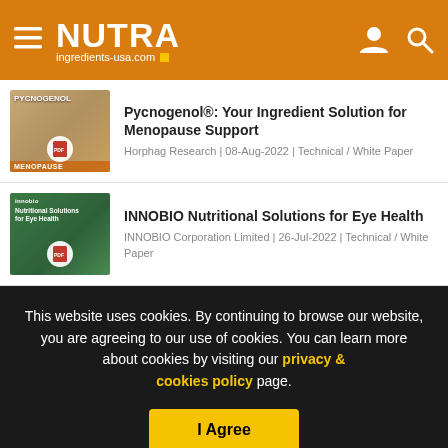NUTRA ingredients-usa.com
Pycnogenol®: Your Ingredient Solution for Menopause Support
Horphag Research | 08-Aug-2022 | Technical / White Paper
INNOBIO Nutritional Solutions for Eye Health
INNOBIO Corporation Limited | 26-Jul-2022 | Technical / White Paper
This website uses cookies. By continuing to browse our website, you are agreeing to our use of cookies. You can learn more about cookies by visiting our privacy & cookies policy page.